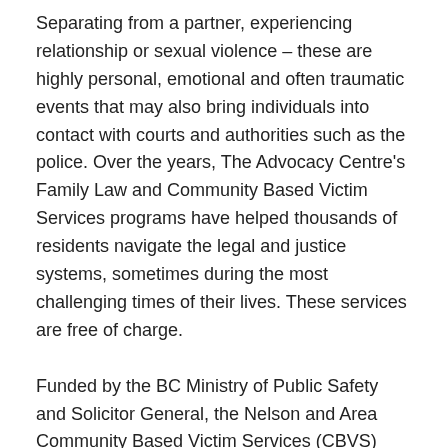Separating from a partner, experiencing relationship or sexual violence – these are highly personal, emotional and often traumatic events that may also bring individuals into contact with courts and authorities such as the police. Over the years, The Advocacy Centre's Family Law and Community Based Victim Services programs have helped thousands of residents navigate the legal and justice systems, sometimes during the most challenging times of their lives. These services are free of charge.
Funded by the BC Ministry of Public Safety and Solicitor General, the Nelson and Area Community Based Victim Services (CBVS) program supports individuals who have experienced relationship or sexual violence, regardless of whether they choose to report to police. CBVS isn't a crisis service but is often the first point of contact for people who